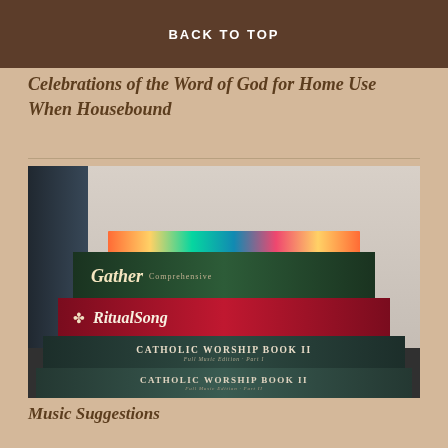BACK TO TOP
Celebrations of the Word of God for Home Use When Housebound
[Figure (photo): Stack of Catholic hymnals and worship books: Gather (Comprehensive), RitualSong, Catholic Worship Book II Full Music Edition Part I, and Catholic Worship Book II Full Music Edition Part II, stacked on a dark surface next to a dark binder.]
Music Suggestions